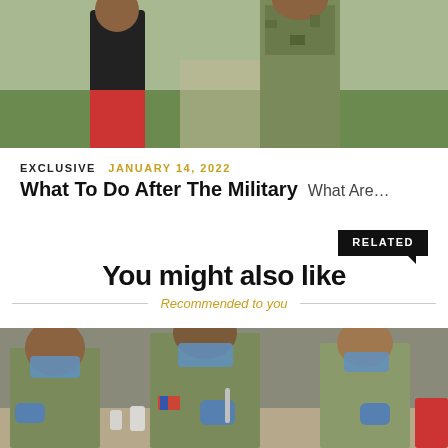[Figure (photo): Two people outdoors, one in civilian clothing (black shirt, red shorts) and one in military camouflage uniform, standing on grass]
EXCLUSIVE  JANUARY 14, 2022
What To Do After The Military  What Are…
RELATED
You might also like
Recommended to you
[Figure (photo): Multiple soldiers in camouflage uniforms and blue medical gloves wearing face masks, working at a table, appearing to conduct COVID-19 testing or vaccination]